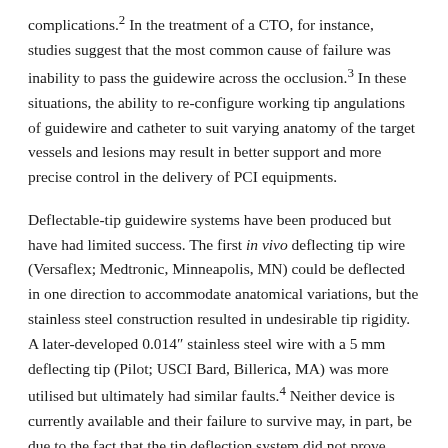complications.2 In the treatment of a CTO, for instance, studies suggest that the most common cause of failure was inability to pass the guidewire across the occlusion.3 In these situations, the ability to re-configure working tip angulations of guidewire and catheter to suit varying anatomy of the target vessels and lesions may result in better support and more precise control in the delivery of PCI equipments.
Deflectable-tip guidewire systems have been produced but have had limited success. The first in vivo deflecting tip wire (Versaflex; Medtronic, Minneapolis, MN) could be deflected in one direction to accommodate anatomical variations, but the stainless steel construction resulted in undesirable tip rigidity. A later-developed 0.014″ stainless steel wire with a 5 mm deflecting tip (Pilot; USCI Bard, Billerica, MA) was more utilised but ultimately had similar faults.4 Neither device is currently available and their failure to survive may, in part, be due to the fact that the tip deflection system did not prove durable in vivo, the transition from deflection joint to support zone was abrupt and the ergonomics of handle design and position were